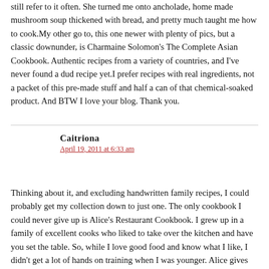still refer to it often. She turned me onto ancholade, home made mushroom soup thickened with bread, and pretty much taught me how to cook.My other go to, this one newer with plenty of pics, but a classic downunder, is Charmaine Solomon's The Complete Asian Cookbook. Authentic recipes from a variety of countries, and I've never found a dud recipe yet.I prefer recipes with real ingredients, not a packet of this pre-made stuff and half a can of that chemical-soaked product. And BTW I love your blog. Thank you.
Caitriona
April 19, 2011 at 6:33 am
Thinking about it, and excluding handwritten family recipes, I could probably get my collection down to just one. The only cookbook I could never give up is Alice's Restaurant Cookbook. I grew up in a family of excellent cooks who liked to take over the kitchen and have you set the table. So, while I love good food and know what I like, I didn't get a lot of hands on training when I was younger. Alice gives